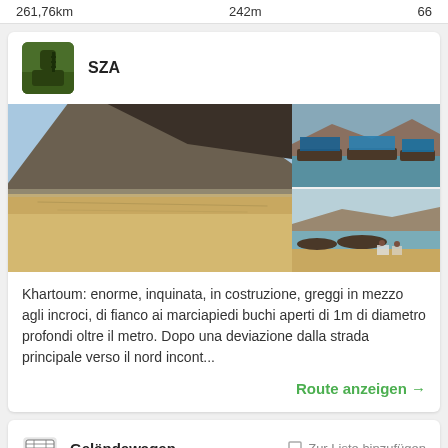261,76km   242m   66
SZA
[Figure (photo): Three travel photos: large left photo showing a desert landscape with a dark volcanic mountain and sandy flats; top right photo showing boats moored at a riverside with blue canopies; bottom right photo showing boats and people on a sandy riverbank.]
Khartoum: enorme, inquinata, in costruzione, greggi in mezzo agli incroci, di fianco ai marciapiedi buchi aperti di 1m di diametro profondi oltre il metro. Dopo una deviazione dalla strada principale verso il nord incont...
Route anzeigen →
Geländewagen
Zur Liste hinzufügen